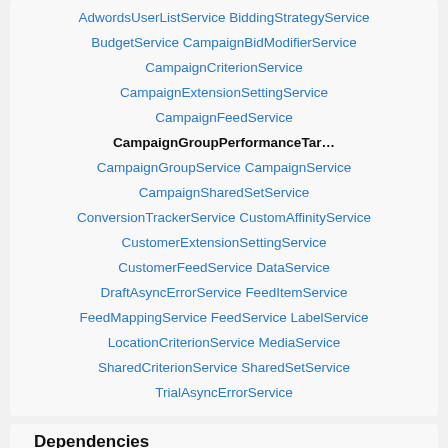AdwordsUserListService BiddingStrategyService BudgetService CampaignBidModifierService CampaignCriterionService CampaignExtensionSettingService CampaignFeedService CampaignGroupPerformanceTar... CampaignGroupService CampaignService CampaignSharedSetService ConversionTrackerService CustomAffinityService CustomerExtensionSettingService CustomerFeedService DataService DraftAsyncErrorService FeedItemService FeedMappingService FeedService LabelService LocationCriterionService MediaService SharedCriterionService SharedSetService TrialAsyncErrorService
Dependencies
QueryError